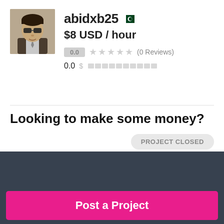[Figure (photo): Profile photo of user abidxb25 wearing sunglasses]
abidxb25
$8 USD / hour
0.0 ★★★★★ (0 Reviews)
0.0 $ ▓▓▓▓▓▓▓▓▓▓
Looking to make some money?
PROJECT CLOSED
Need to hire a freelancer for a job?
Post a Project